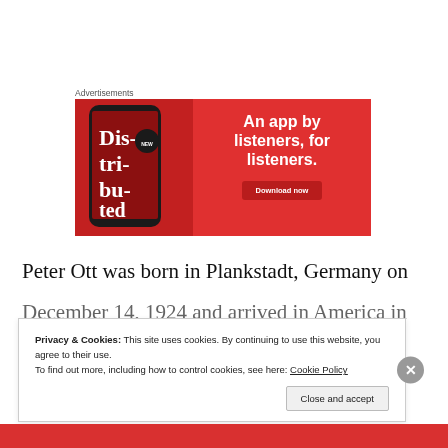Advertisements
[Figure (illustration): Red advertisement banner for a podcast/audio app showing a smartphone with 'Dis-tri-bu-ted' on screen and text 'An app by listeners, for listeners.' with a Download now button.]
Peter Ott was born in Plankstadt, Germany on
December 14, 1924 and arrived in America in
Privacy & Cookies: This site uses cookies. By continuing to use this website, you agree to their use.
To find out more, including how to control cookies, see here: Cookie Policy
Close and accept